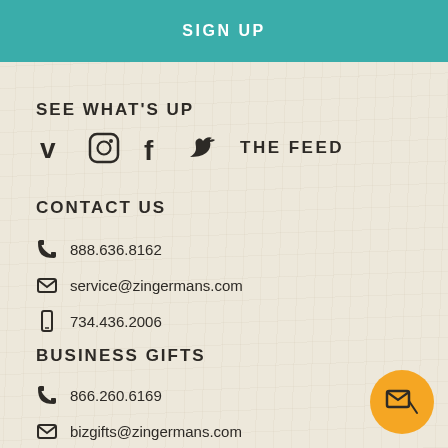SIGN UP
SEE WHAT'S UP
[Figure (infographic): Social media icons: Vimeo (V), Instagram, Facebook (f), Twitter bird, followed by text THE FEED]
CONTACT US
888.636.8162
service@zingermans.com
734.436.2006
BUSINESS GIFTS
866.260.6169
bizgifts@zingermans.com